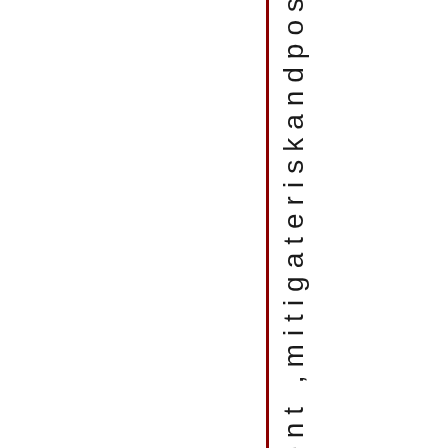engagement ,mitigateriskandpos